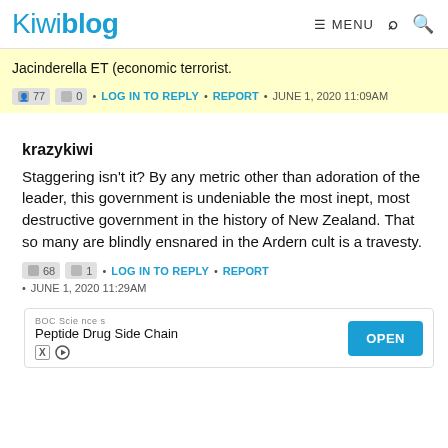Kiwiblog
Jacinderella ET (economic terrorist.
77 0 • LOG IN TO REPLY • REPORT • JUNE 1, 2020 11:09AM
krazykiwi
Staggering isn't it? By any metric other than adoration of the leader, this government is undeniable the most inept, most destructive government in the history of New Zealand. That so many are blindly ensnared in the Ardern cult is a travesty.
68 1 • LOG IN TO REPLY • REPORT
• JUNE 1, 2020 11:29AM
[Figure (other): Advertisement banner: BOC Sciences - Peptide Drug Side Chain with OPEN button]